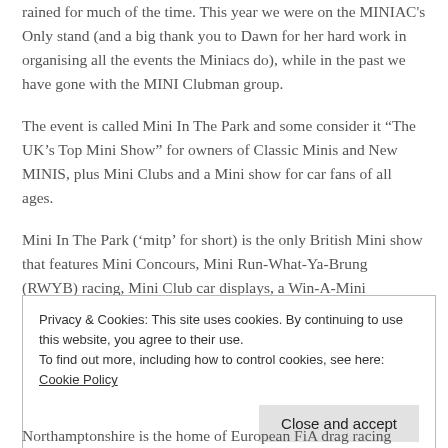rained for much of the time. This year we were on the MINIAC's Only stand (and a big thank you to Dawn for her hard work in organising all the events the Miniacs do), while in the past we have gone with the MINI Clubman group.
The event is called Mini In The Park and some consider it “The UK’s Top Mini Show” for owners of Classic Minis and New MINIS, plus Mini Clubs and a Mini show for car fans of all ages.
Mini In The Park (‘mitp’ for short) is the only British Mini show that features Mini Concours, Mini Run-What-Ya-Brung (RWYB) racing, Mini Club car displays, a Win-A-Mini
Privacy & Cookies: This site uses cookies. By continuing to use this website, you agree to their use.
To find out more, including how to control cookies, see here: Cookie Policy
Northamptonshire is the home of European FiA drag racing